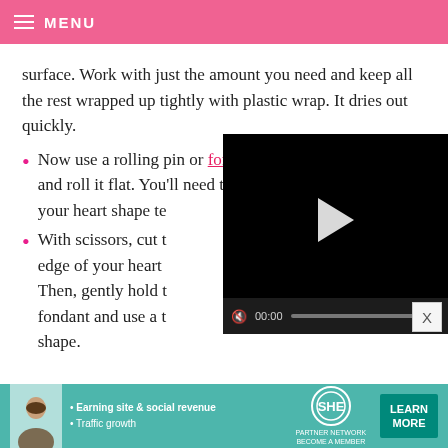MENU
surface. Work with just the amount you need and keep all the rest wrapped up tightly with plastic wrap. It dries out quickly.
Now use a rolling pin or fondant roller and roll it flat. You'll need to roll it larger than your heart shape te
With scissors, cut t edge of your heart Then, gently hold t fondant and use a t shape.
[Figure (screenshot): Embedded video player with black background, play button in center, progress bar and controls at bottom showing 00:00]
[Figure (infographic): Advertisement banner for SHE Partner Network with avatar, bullet points 'Earning site & social revenue' and 'Traffic growth', SHE logo, and LEARN MORE button]